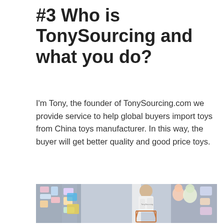#3 Who is TonySourcing and what you do?
I'm Tony, the founder of TonySourcing.com we provide service to help global buyers import toys from China toys manufacturer. In this way, the buyer will get better quality and good price toys.
[Figure (photo): A man wearing a white hoodie with TonySourcing branding, pushing a shopping cart in a toy store filled with colorful toys and stuffed animals on shelves.]